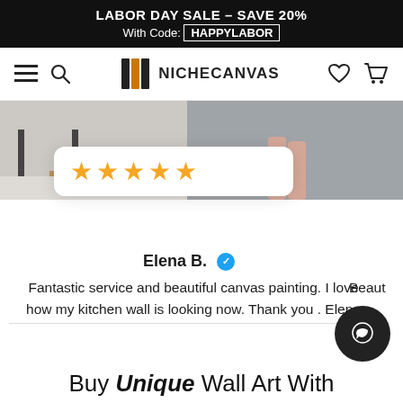LABOR DAY SALE – SAVE 20% With Code: HAPPYLABOR
[Figure (logo): NicheCanvas logo with nav icons]
[Figure (photo): Product canvas painting display photo strip showing furniture and a person]
Elena B. ✓
Fantastic service and beautiful canvas painting. I love how my kitchen wall is looking now. Thank you . Elena
Buy Unique Wall Art With